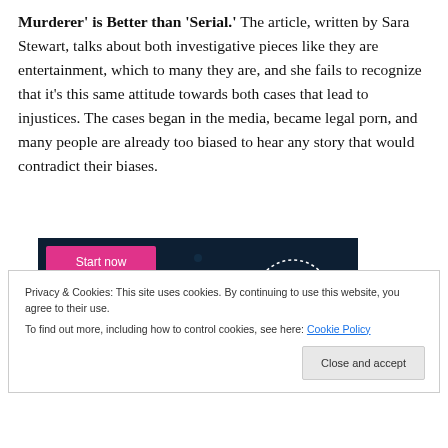'Murderer' is Better than 'Serial.' The article, written by Sara Stewart, talks about both investigative pieces like they are entertainment, which to many they are, and she fails to recognize that it's this same attitude towards both cases that lead to injustices. The cases began in the media, became legal porn, and many people are already too biased to hear any story that would contradict their biases.
[Figure (screenshot): Advertisement banner with dark navy background showing a pink 'Start now' button on the left and a dotted circle logo with 'CROWD' text on the right.]
Privacy & Cookies: This site uses cookies. By continuing to use this website, you agree to their use.
To find out more, including how to control cookies, see here: Cookie Policy